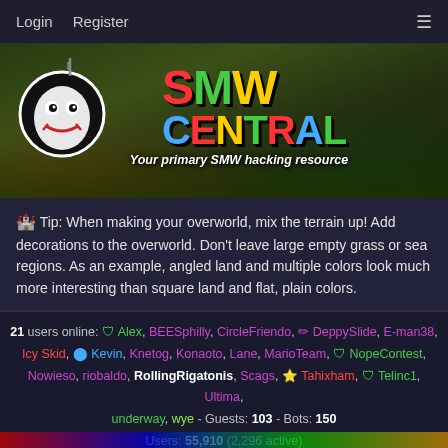Login  Register  ☰
[Figure (logo): SMW Central logo banner — Yoshi-like character with a flag, colorful 'SMW CENTRAL' text, tagline 'Your primary SMW hacking resource' on a game-scene background]
🏰 Tip: When making your overworld, mix the terrain up! Add decorations to the overworld. Don't leave large empty grass or sea regions. As an example, angled land and multiple colors look much more interesting than square land and flat, plain colors.
21 users online: 🛡 Alex, BEESphilly, CircleFriendo, ✏ DeppySlide, E-man38, Icy Skid, 🔵 Kevin, Knetog, Konaoto, Lane, MarioTeam, 🛡 NopeContest, Nowieso, riobaldo, RollingRigatonis, Scags, ★ Tahixham, 🛡 Telinc1, Ultima, underway, wye - Guests: 103 - Bots: 150
Users: 55,910 (2,296 active)
Latest user: Narictuar